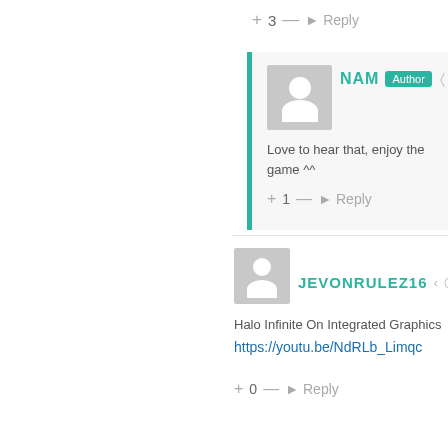+ 3 — Reply
NAM Author
Love to hear that, enjoy the game ^^
+ 1 — Reply
JEVONRULEZ16 8 months
Halo Infinite On Integrated Graphics
https://youtu.be/NdRLb_Limqc
+ 0 — Reply